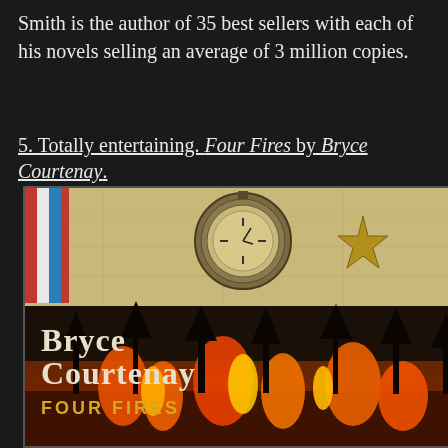Smith is the author of 35 best sellers with each of his novels selling an average of 3 million copies.
5. Totally entertaining. Four Fires by Bryce Courtenay.
[Figure (photo): Book cover of 'Four Fires' by Bryce Courtenay (Penguin). Top half shows a pocket watch, military medals and ribbons on a map background. Bottom half shows the author name 'Bryce Courtenay' in large serif font, subtitle 'FOUR FIRES' in gold/yellow, with a dramatic bushfire scene — burning trees with orange flames and dark silhouettes.]